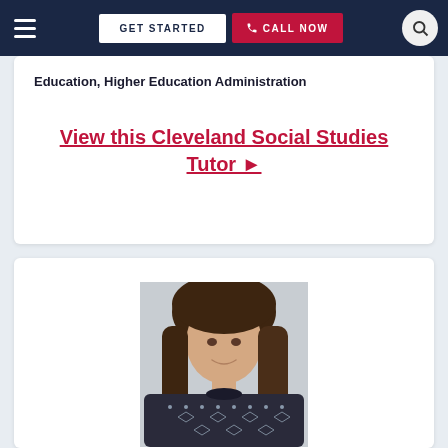GET STARTED | CALL NOW
Education, Higher Education Administration
View this Cleveland Social Studies Tutor ►
[Figure (photo): Portrait photo of a young woman with long brown hair wearing a dark patterned sweater, smiling at the camera indoors]